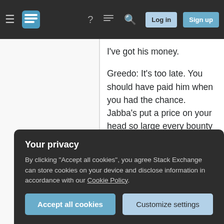Stack Exchange navigation bar with hamburger menu, logo, help, chat, search icons, Log in and Sign up buttons
I've got his money.
Greedo: It's too late. You should have paid him when you had the chance. Jabba's put a price on your head so large every bounty hunter in the galaxy will be looking for you...Lucky I found you first.
Han: Yeah, but this time I've got the money.
Greedo: If you give it to me, I might forget I found you.
Your privacy
By clicking "Accept all cookies", you agree Stack Exchange can store cookies on your device and disclose information in accordance with our Cookie Policy.
Accept all cookies
Customize settings
cruiser.